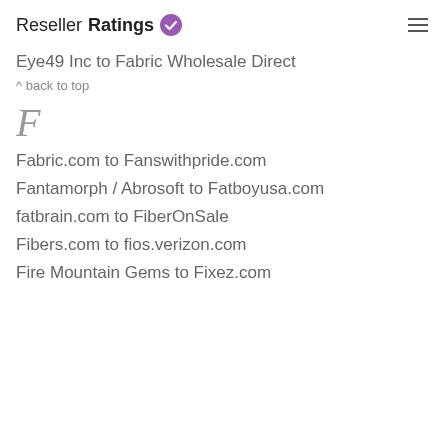ResellerRatings
Eye49 Inc to Fabric Wholesale Direct
^ back to top
F
Fabric.com to Fanswithpride.com
Fantamorph / Abrosoft to Fatboyusa.com
fatbrain.com to FiberOnSale
Fibers.com to fios.verizon.com
Fire Mountain Gems to Fixez.com